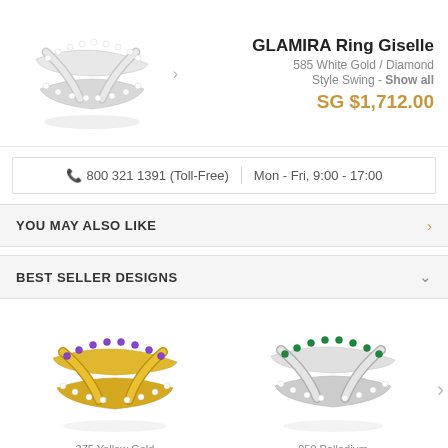[Figure (photo): GLAMIRA Ring Giselle in 585 White Gold with diamonds, cross-band style, shown on white background]
GLAMIRA Ring Giselle
585 White Gold / Diamond
Style Swing - Show all
SG $1,712.00
800 321 1391 (Toll-Free)  |  Mon - Fri, 9:00 - 17:00
YOU MAY ALSO LIKE
BEST SELLER DESIGNS
[Figure (photo): Ring in 375 Yellow Gold with Amethyst and Diamond stones, cross-band style]
375 Yellow Gold
Amethyst & Diamond
[Figure (photo): Ring in 950 Palladium with Emerald and Diamond stones, cross-band style]
950 Palladium
Emerald & Diamond